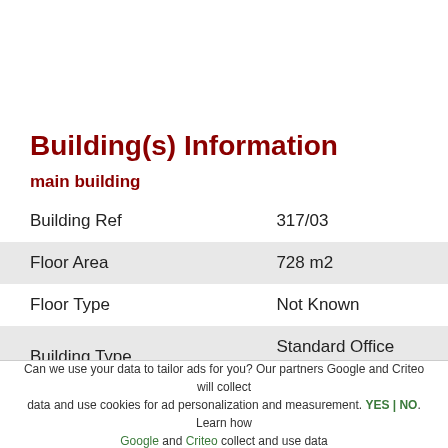Building(s) Information
main building
| Field | Value |
| --- | --- |
| Building Ref | 317/03 |
| Floor Area | 728 m2 |
| Floor Type | Not Known |
| Building Type | Standard Office Building |
| Construction Date | 1970 - 1979 |
Can we use your data to tailor ads for you? Our partners Google and Criteo will collect data and use cookies for ad personalization and measurement. YES | NO. Learn how Google and Criteo collect and use data